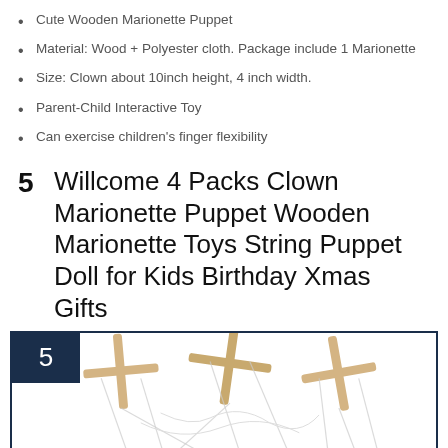Cute Wooden Marionette Puppet
Material: Wood + Polyester cloth. Package include 1 Marionette
Size: Clown about 10inch height, 4 inch width.
Parent-Child Interactive Toy
Can exercise children's finger flexibility
5  Willcome 4 Packs Clown Marionette Puppet Wooden Marionette Toys String Puppet Doll for Kids Birthday Xmas Gifts
[Figure (photo): Wooden marionette puppet controller crosses with strings and colorful puppet heads (green, yellow, red, blue, purple) visible at the bottom, inside a dark navy border frame with a badge numbered 5 in the top-left corner.]